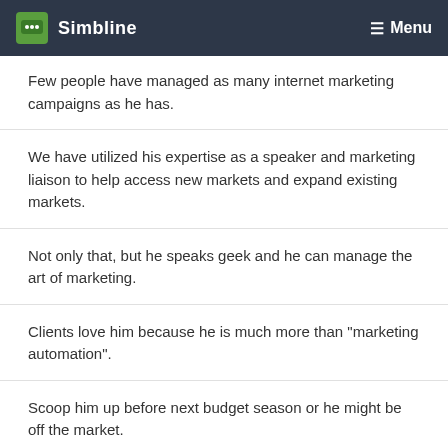Simbline   Menu
Few people have managed as many internet marketing campaigns as he has.
We have utilized his expertise as a speaker and marketing liaison to help access new markets and expand existing markets.
Not only that, but he speaks geek and he can manage the art of marketing.
Clients love him because he is much more than "marketing automation".
Scoop him up before next budget season or he might be off the market.